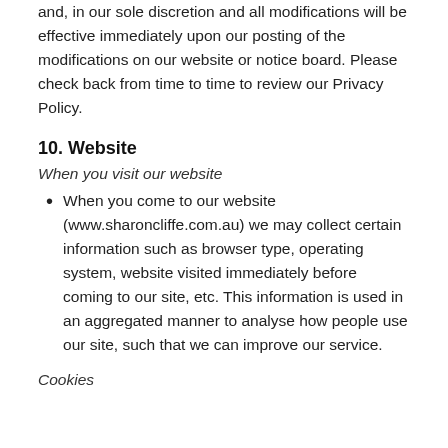and, in our sole discretion and all modifications will be effective immediately upon our posting of the modifications on our website or notice board. Please check back from time to time to review our Privacy Policy.
10.  Website
When you visit our website
When you come to our website (www.sharoncliffe.com.au) we may collect certain information such as browser type, operating system, website visited immediately before coming to our site, etc. This information is used in an aggregated manner to analyse how people use our site, such that we can improve our service.
Cookies